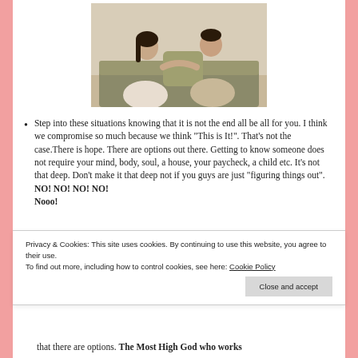[Figure (photo): A couple sitting on a couch facing each other in conversation.]
Step into these situations knowing that it is not the end all be all for you. I think we compromise so much because we think “This is It!”. That’s not the case.There is hope. There are options out there. Getting to know someone does not require your mind, body, soul, a house, your paycheck, a child etc. It’s not that deep. Don’t make it that deep not if you guys are just “figuring things out”. NO! NO! NO! NO! Nooo!
Privacy & Cookies: This site uses cookies. By continuing to use this website, you agree to their use.
To find out more, including how to control cookies, see here: Cookie Policy
that there are options. The Most High God who works